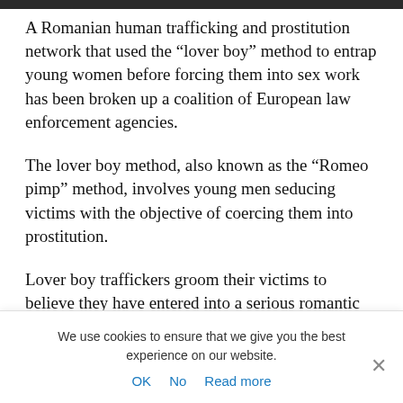A Romanian human trafficking and prostitution network that used the “lover boy” method to entrap young women before forcing them into sex work has been broken up a coalition of European law enforcement agencies.
The lover boy method, also known as the “Romeo pimp” method, involves young men seducing victims with the objective of coercing them into prostitution.
Lover boy traffickers groom their victims to believe they have entered into a serious romantic relationship before using emotional, psychological and sometimes physical...
We use cookies to ensure that we give you the best experience on our website.
OK   No   Read more